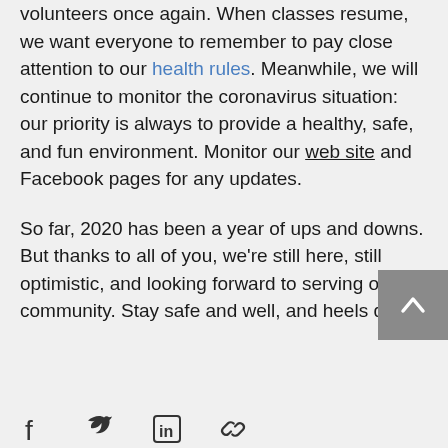volunteers once again. When classes resume, we want everyone to remember to pay close attention to our health rules.  Meanwhile, we will continue to monitor the coronavirus situation: our priority is always to provide a healthy, safe, and fun environment.   Monitor our web site and Facebook pages for any updates.

So far, 2020 has been a year of ups and downs. But thanks to all of you, we're still here, still optimistic,  and looking forward to serving our community.  Stay safe and well, and heels down!
[Figure (other): Back to top button (grey square with white chevron/arrow pointing up)]
[Figure (other): Social media icons: Facebook, Twitter, LinkedIn, link/share icon]